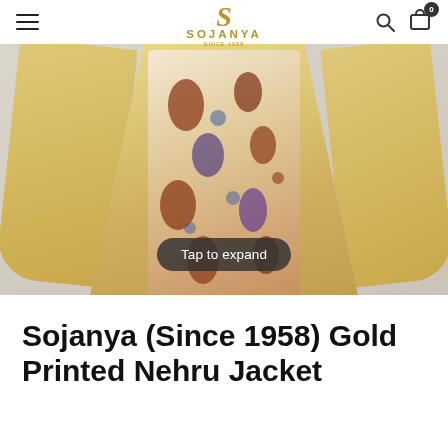SOJANYA (since 1958) — navigation header with hamburger menu, logo, search and cart icons
[Figure (photo): Man wearing a gold/cream silk kurta with a printed Nehru jacket featuring traditional Indian bird and floral motifs in red, blue and cream. A 'Tap to expand' button overlaid at the bottom center of the image.]
Sojanya (Since 1958) Gold Printed Nehru Jacket